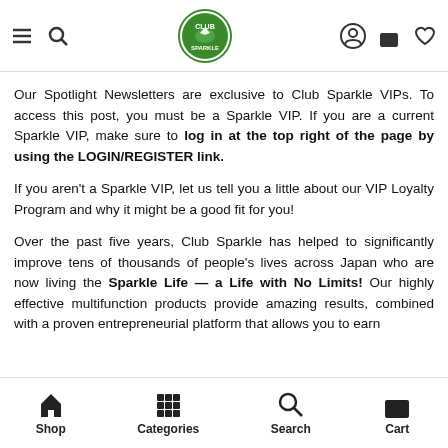Club Sparkle navigation header with logo, menu, search, account, cart, and wishlist icons
Our Spotlight Newsletters are exclusive to Club Sparkle VIPs. To access this post, you must be a Sparkle VIP. If you are a current Sparkle VIP, make sure to log in at the top right of the page by using the LOGIN/REGISTER link.
If you aren't a Sparkle VIP, let us tell you a little about our VIP Loyalty Program and why it might be a good fit for you!
Over the past five years, Club Sparkle has helped to significantly improve tens of thousands of people's lives across Japan who are now living the Sparkle Life — a Life with No Limits! Our highly effective multifunction products provide amazing results, combined with a proven entrepreneurial platform that allows you to earn
Shop | Categories | Search | Cart